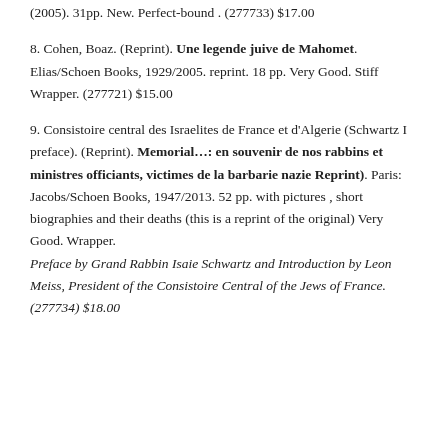(2005). 31pp. New. Perfect-bound . (277733) $17.00
8. Cohen, Boaz. (Reprint). Une legende juive de Mahomet. Elias/Schoen Books, 1929/2005. reprint. 18 pp. Very Good. Stiff Wrapper. (277721) $15.00
9. Consistoire central des Israelites de France et d'Algerie (Schwartz I preface). (Reprint). Memorial...: en souvenir de nos rabbins et ministres officiants, victimes de la barbarie nazie Reprint). Paris: Jacobs/Schoen Books, 1947/2013. 52 pp. with pictures , short biographies and their deaths (this is a reprint of the original) Very Good. Wrapper. Preface by Grand Rabbin Isaie Schwartz and Introduction by Leon Meiss, President of the Consistoire Central of the Jews of France. (277734) $18.00